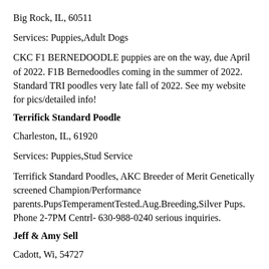Big Rock, IL, 60511
Services: Puppies,Adult Dogs
CKC F1 BERNEDOODLE puppies are on the way, due April of 2022. F1B Bernedoodles coming in the summer of 2022. Standard TRI poodles very late fall of 2022. See my website for pics/detailed info!
Terrifick Standard Poodle
Charleston, IL, 61920
Services: Puppies,Stud Service
Terrifick Standard Poodles, AKC Breeder of Merit Genetically screened Champion/Performance parents.PupsTemperamentTested.Aug.Breeding,Silver Pups. Phone 2-7PM Centrl- 630-988-0240 serious inquiries.
Jeff & Amy Sell
Cadott, Wi, 54727
Services: Puppies,Adult Dogs,Stud Service,Rescue